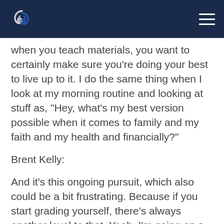[Logo] [Navigation menu icon]
when you teach materials, you want to certainly make sure you're doing your best to live up to it. I do the same thing when I look at my morning routine and looking at stuff as, "Hey, what's my best version possible when it comes to family and my faith and my health and financially?"
Brent Kelly:
And it's this ongoing pursuit, which also could be a bit frustrating. Because if you start grading yourself, there's always another level to that. Yeah, I'm going on a tangent here, but I appreciate you saying that. Anything else you want to add to the best version possible story in your life, Jeff?